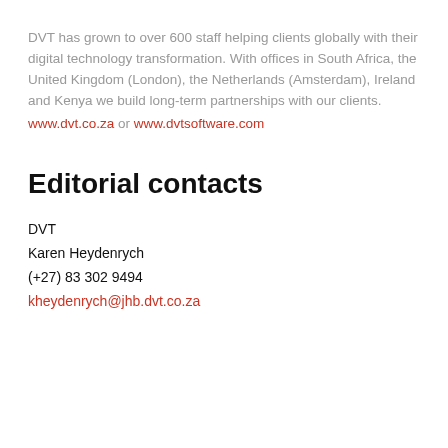DVT has grown to over 600 staff helping clients globally with their digital technology transformation. With offices in South Africa, the United Kingdom (London), the Netherlands (Amsterdam), Ireland and Kenya we build long-term partnerships with our clients. www.dvt.co.za or www.dvtsoftware.com
Editorial contacts
DVT
Karen Heydenrych
(+27) 83 302 9494
kheydenrych@jhb.dvt.co.za